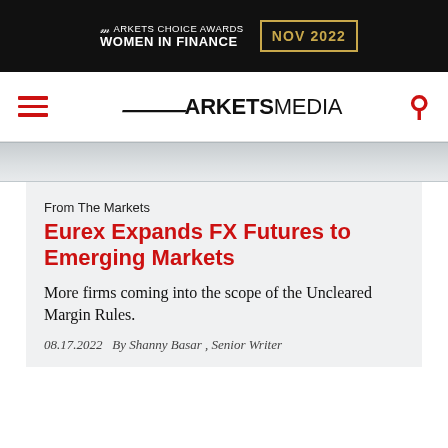[Figure (logo): Markets Choice Awards Women in Finance NOV 2022 banner advertisement on black background with gold border date box]
[Figure (logo): MarketsMedia navigation bar with hamburger menu icon (red), MarketsMedia logo, and red search icon]
[Figure (photo): Partial grey-toned image strip showing blurred background]
From The Markets
Eurex Expands FX Futures to Emerging Markets
More firms coming into the scope of the Uncleared Margin Rules.
08.17.2022   By Shanny Basar , Senior Writer